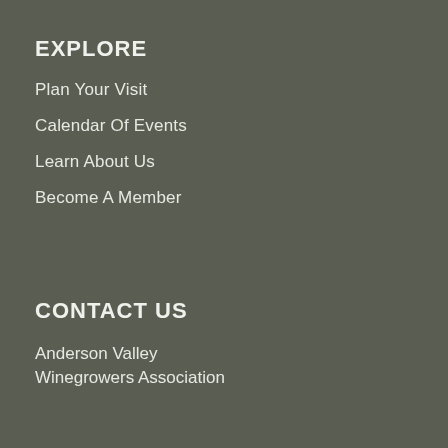EXPLORE
Plan Your Visit
Calendar Of Events
Learn About Us
Become A Member
CONTACT US
Anderson Valley
Winegrowers Association